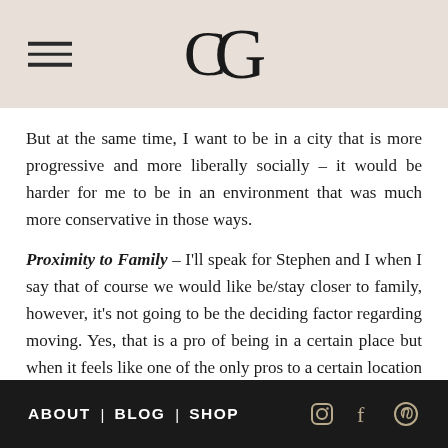G (logo with hamburger menu)
But at the same time, I want to be in a city that is more progressive and more liberally socially – it would be harder for me to be in an environment that was much more conservative in those ways.
Proximity to Family – I'll speak for Stephen and I when I say that of course we would like be/stay closer to family, however, it's not going to be the deciding factor regarding moving. Yes, that is a pro of being in a certain place but when it feels like one of the only pros to a certain location it's hard
ABOUT | BLOG | SHOP